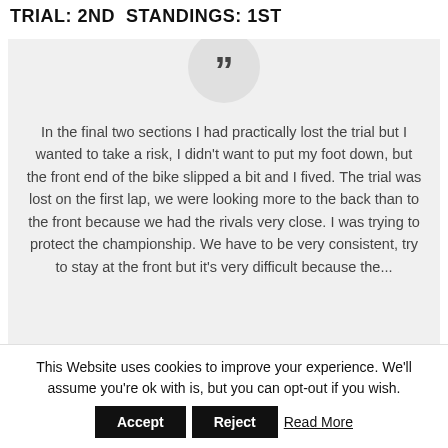TRIAL: 2ND  STANDINGS: 1ST
In the final two sections I had practically lost the trial but I wanted to take a risk, I didn't want to put my foot down, but the front end of the bike slipped a bit and I fived. The trial was lost on the first lap, we were looking more to the back than to the front because we had the rivals very close. I was trying to protect the championship. We have to be very consistent, try to stay at the front but it's very difficult because the...
This Website uses cookies to improve your experience. We'll assume you're ok with is, but you can opt-out if you wish.